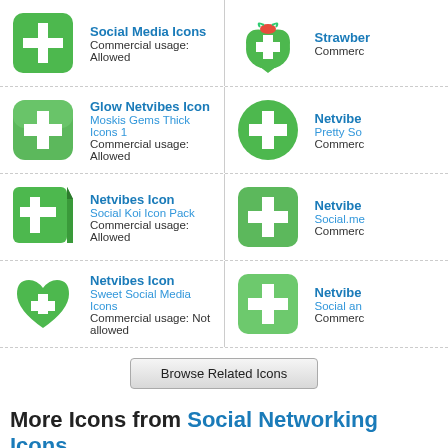Social Media Icons
Commercial usage: Allowed
Glow Netvibes Icon
Moskis Gems Thick Icons 1
Commercial usage: Allowed
Netvibes Icon
Social Koi Icon Pack
Commercial usage: Allowed
Netvibes Icon
Sweet Social Media Icons
Commercial usage: Not allowed
Browse Related Icons
More Icons from Social Networking Icons
Komodomedia Wood Icon
Download Windows icon
Download PNG files
Gowalla Icon
Download Windows icon
Download PNG files
Dopplr Icon
Cargo Icon